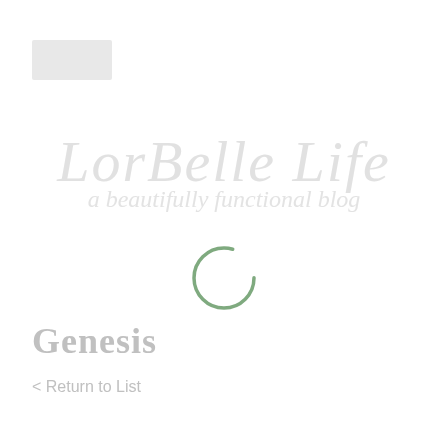[Figure (other): Navigation placeholder rectangle (light gray box) in the top-left area]
[Figure (logo): Watermark logo text reading 'LorBelle Life' in cursive script with subtitle 'a beautifully functional blog', rendered in light gray/silver watermark style]
[Figure (other): Loading spinner: a partial circle arc in muted green color, representing a loading/busy indicator]
Genesis
< Return to List